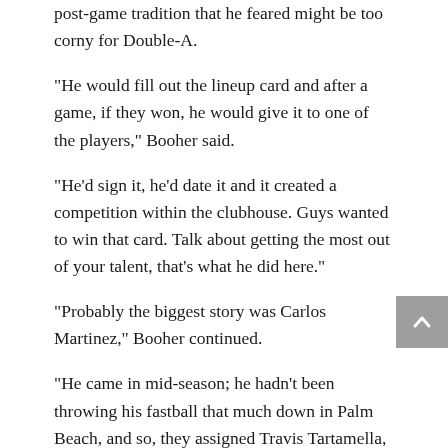post-game tradition that he feared might be too corny for Double-A.
“He would fill out the lineup card and after a game, if they won, he would give it to one of the players,” Booher said.
“He’d sign it, he’d date it and it created a competition within the clubhouse. Guys wanted to win that card. Talk about getting the most out of your talent, that’s what he did here.”
“Probably the biggest story was Carlos Martinez,” Booher continued.
“He came in mid-season; he hadn’t been throwing his fastball that much down in Palm Beach, and so, they assigned Travis Tartamella, the catcher, to be his Crash Davis – and what you saw was a guy transform himself into a big leaguer.”